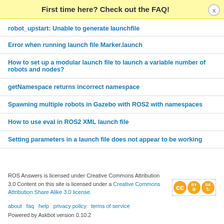First time here? Check out the FAQ!
robot_upstart: Unable to generate launchfile
Error when running launch file Marker.launch
How to set up a modular launch file to launch a variable number of robots and nodes?
getNamespace returns incorrect namespace
Spawning multiple robots in Gazebo with ROS2 with namespaces
How to use eval in ROS2 XML launch file
Setting parameters in a launch file does not appear to be working
ROS Answers is licensed under Creative Commons Attribution 3.0 Content on this site is licensed under a Creative Commons Attribution Share Alike 3.0 license.
about  faq  help  privacy policy  terms of service
Powered by Askbot version 0.10.2